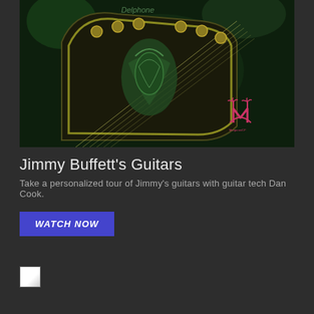[Figure (photo): Close-up photo of a guitar headstock with green tint and a Margaritaville/MaCaroniCP watermark logo in pink in the lower right corner. The headstock shows tuning pegs and decorative inlay work.]
Jimmy Buffett's Guitars
Take a personalized tour of Jimmy's guitars with guitar tech Dan Cook.
WATCH NOW
[Figure (other): Broken/unloaded image placeholder (small white square with broken image icon)]